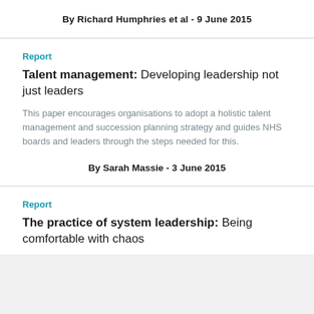By Richard Humphries et al - 9 June 2015
Report
Talent management: Developing leadership not just leaders
This paper encourages organisations to adopt a holistic talent management and succession planning strategy and guides NHS boards and leaders through the steps needed for this.
By Sarah Massie - 3 June 2015
Report
The practice of system leadership: Being comfortable with chaos